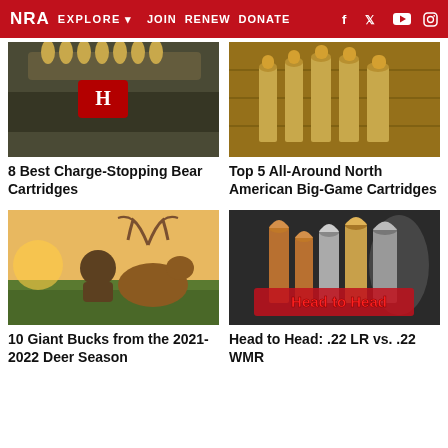NRA EXPLORE JOIN RENEW DONATE
[Figure (photo): Rifle with cheek pad and ammunition carrier, Hornady branded, close-up shot]
8 Best Charge-Stopping Bear Cartridges
[Figure (photo): Multiple rifle cartridges/bullets lined up on wooden surface]
Top 5 All-Around North American Big-Game Cartridges
[Figure (photo): Hunter posing with large whitetail buck in field at sunset]
10 Giant Bucks from the 2021-2022 Deer Season
[Figure (photo): Head to Head graphic with various caliber bullets, red text 'Head to Head']
Head to Head: .22 LR vs. .22 WMR